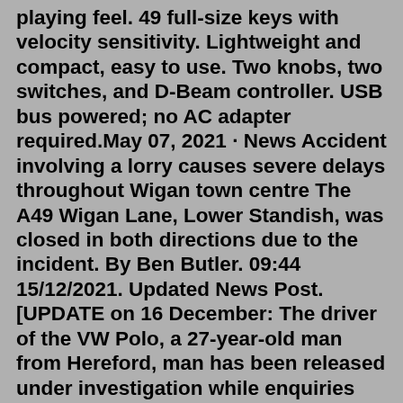playing feel. 49 full-size keys with velocity sensitivity. Lightweight and compact, easy to use. Two knobs, two switches, and D-Beam controller. USB bus powered; no AC adapter required.May 07, 2021 · News Accident involving a lorry causes severe delays throughout Wigan town centre The A49 Wigan Lane, Lower Standish, was closed in both directions due to the incident. By Ben Butler. 09:44 15/12/2021. Updated News Post. [UPDATE on 16 December: The driver of the VW Polo, a 27-year-old man from Hereford, man has been released under investigation while enquiries continue.] Officers were called to a road traffic collision on the A49 near the Asda store in Hereford at 7.05am today (Wednesday 15 December)The ambulance technician who died after an object struck his vehicle's windscreen on the way to a 999 call had "retired and returned" to help with the COVID-19 response.Mar 31, 2021 · A MOTORCYCLIST died after a crash on the A49 in Felhampton yesterday. The crash happened between Craven Arms and Church Stretton, just before 1pm